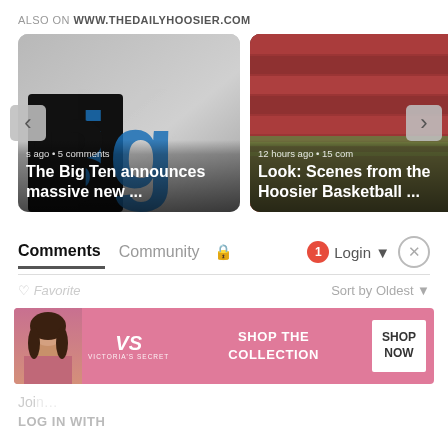ALSO ON WWW.THEDAILYHOOSIER.COM
[Figure (screenshot): Carousel of two article cards. Left card shows Big Ten logo with title 'The Big Ten announces massive new ...' and '5 comments'. Right card shows Hoosier Basketball stadium scene with title 'Look: Scenes from the Hoosier Basketball ...' and '12 hours ago • 15 comments'. Navigation arrows on left and right.]
Comments  Community  🔒  1  Login
♡ Favorite   Sort by Oldest
[Figure (screenshot): Victoria's Secret advertisement banner with model photo, VS logo, 'SHOP THE COLLECTION' text, and 'SHOP NOW' button]
LOG IN WITH